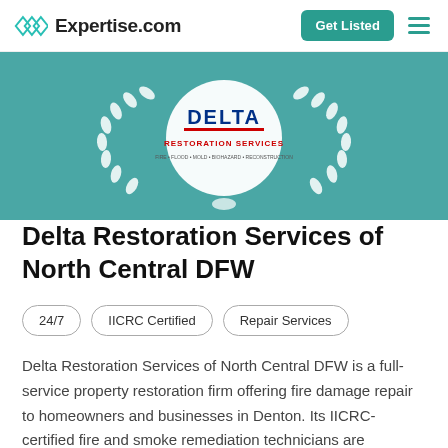Expertise.com  Get Listed
[Figure (logo): Delta Restoration Services logo centered in a teal hero banner with a white laurel wreath]
Delta Restoration Services of North Central DFW
24/7
IICRC Certified
Repair Services
Delta Restoration Services of North Central DFW is a full-service property restoration firm offering fire damage repair to homeowners and businesses in Denton. Its IICRC-certified fire and smoke remediation technicians are experienced in carrying out fire and